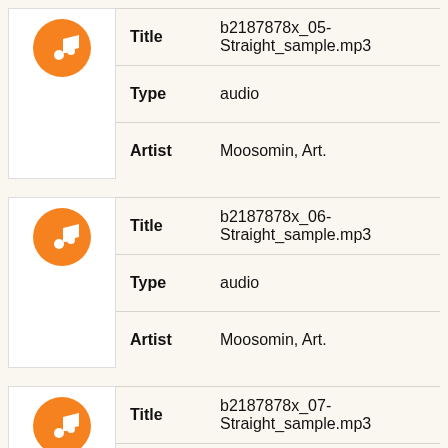| Field | Value |
| --- | --- |
| Title | b2187878x_05-Straight_sample.mp3 |
| Type | audio |
| Artist | Moosomin, Art. |
| Field | Value |
| --- | --- |
| Title | b2187878x_06-Straight_sample.mp3 |
| Type | audio |
| Artist | Moosomin, Art. |
| Field | Value |
| --- | --- |
| Title | b2187878x_07-Straight_sample.mp3 |
| Type | audio |
| Artist | Moosomin, Art. |